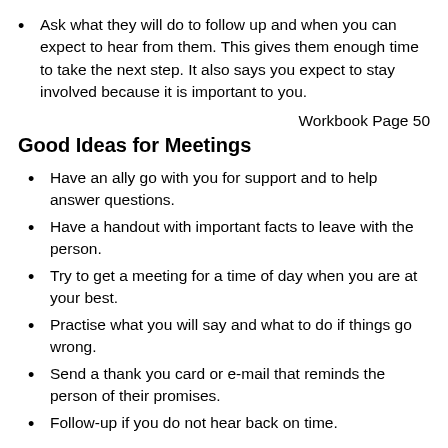Ask what they will do to follow up and when you can expect to hear from them. This gives them enough time to take the next step. It also says you expect to stay involved because it is important to you.
Workbook Page 50
Good Ideas for Meetings
Have an ally go with you for support and to help answer questions.
Have a handout with important facts to leave with the person.
Try to get a meeting for a time of day when you are at your best.
Practise what you will say and what to do if things go wrong.
Send a thank you card or e-mail that reminds the person of their promises.
Follow-up if you do not hear back on time.